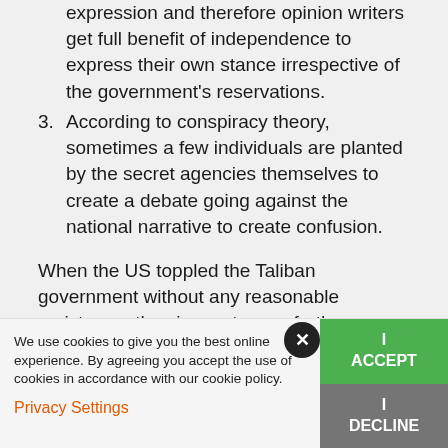expression and therefore opinion writers get full benefit of independence to express their own stance irrespective of the government's reservations.
3. According to conspiracy theory, sometimes a few individuals are planted by the secret agencies themselves to create a debate going against the national narrative to create confusion.
When the US toppled the Taliban government without any reasonable resistance, the circumstances further encouraged and facilitated
We use cookies to give you the best online experience. By agreeing you accept the use of cookies in accordance with our cookie policy.
Privacy Settings
I ACCEPT
I DECLINE